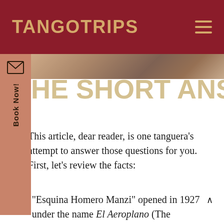TANGOTRIPS
[Figure (photo): Partial photo strip showing hands or figures at a tango event, dimly lit]
THE SHORT ANSWER
This article, dear reader, is one tanguera's attempt to answer those questions for you. First, let's review the facts:
“Esquina Homero Manzi” opened in 1927 under the name El Aeroplano (The